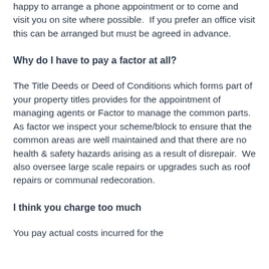happy to arrange a phone appointment or to come and visit you on site where possible.  If you prefer an office visit this can be arranged but must be agreed in advance.
Why do I have to pay a factor at all?
The Title Deeds or Deed of Conditions which forms part of your property titles provides for the appointment of managing agents or Factor to manage the common parts.  As factor we inspect your scheme/block to ensure that the common areas are well maintained and that there are no health & safety hazards arising as a result of disrepair.  We also oversee large scale repairs or upgrades such as roof repairs or communal redecoration.
I think you charge too much
You pay actual costs incurred for the